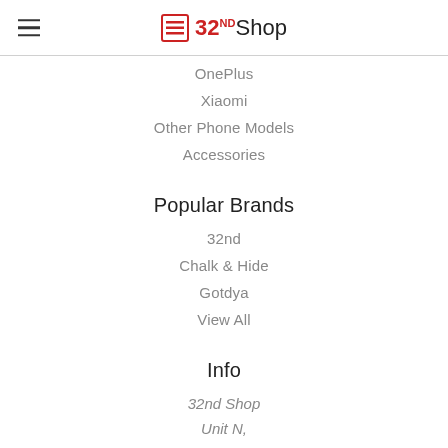32nd Shop
OnePlus
Xiaomi
Other Phone Models
Accessories
Popular Brands
32nd
Chalk & Hide
Gotdya
View All
Info
32nd Shop
Unit N,
Langlands Business Park,
Uffculme